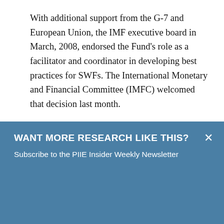With additional support from the G-7 and European Union, the IMF executive board in March, 2008, endorsed the Fund's role as a facilitator and coordinator in developing best practices for SWFs. The International Monetary and Financial Committee (IMFC) welcomed that decision last month.
The adoption of best practices by SWFs, in my
WANT MORE RESEARCH LIKE THIS?
Subscribe to the PIIE Insider Weekly Newsletter